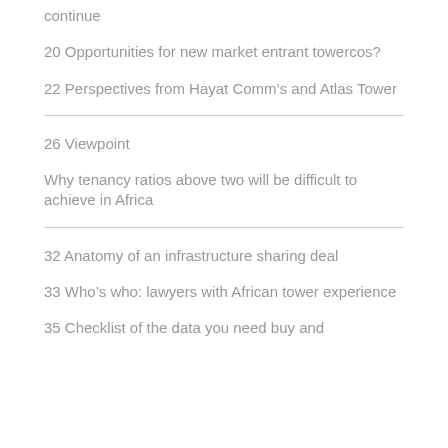continue
20 Opportunities for new market entrant towercos?
22 Perspectives from Hayat Comm’s and Atlas Tower
26 Viewpoint
Why tenancy ratios above two will be difficult to achieve in Africa
32 Anatomy of an infrastructure sharing deal
33 Who’s who: lawyers with African tower experience
35 Checklist of the data you need buy and